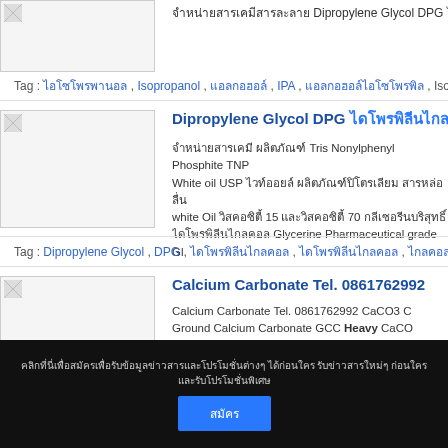[Figure (photo): Product image placeholder top]
จำหน่ายสารเคมี Dipropylene Glycol DPG ไ
Tag : ไอโซโพรพานอล , Isopropanol , แอลกอฮอล์ , IPA , แอลกอฮอล์ไอโซโพรพิล , Isopropyl Alco
Dipropylene Glycol DPG ไดโพรพิลีนไกลคอล
จำหน่ายสารเคมี ผลิตภัณฑ์ Tris Nonylphenyl Phosphite TNP White oil USP ไวท์ออยล์ ผลิตภัณฑ์ปิโตรเลียม สารหล่อลื่น white Oil วิสคอซิตี้ 15 และวิสคอซิตี้ 70 กลีเซอรีนบริสุทธิ์ ไดโพรพิลีนไกลคอล Glycerine Pharmaceutical grade Gl
Tag : Dipropylene Glycol , DPG , ไดโพรพิลีนไกลคอล , ไดโพรพิลีนไกลคอล , ไกลคอล ,
Calcium Carbonate Tel. 0861762992
Calcium Carbonate Tel. 0861762992 CaCO3 C Ground Calcium Carbonate GCC Heavy CaCO Food Grade Industrial Grade Treated Grade Co
คลิกที่นี่เพื่อสมัครเพื่อรับข้อมูลข่าวสารและโปรโมชั่นต่างๆ ได้ก่อนใคร รับข่าวสารใหม่ๆ ก่อนใครและรับโปรโมชั่นพิเศษ
สมัคร